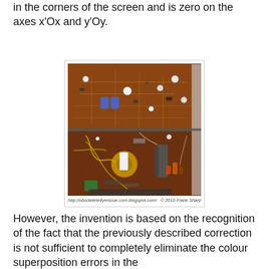in the corners of the screen and is zero on the axes x'Ox and y'Oy.
[Figure (photo): Photograph of an open vintage television circuit board with components, wires, and PCB traces visible. Caption reads: http://obsoletetellyrescue.com.blogspot.com/ © 2010 Frank Sharp]
However, the invention is based on the recognition of the fact that the previously described correction is not sufficient to completely eliminate the colour superposition errors in the